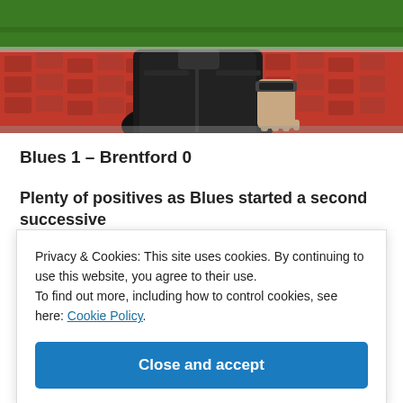[Figure (photo): A person wearing a black puffer jacket seated in a football stadium with red seats and green pitch visible in the background.]
Blues 1 – Brentford 0
Plenty of positives as Blues started a second successive
Privacy & Cookies: This site uses cookies. By continuing to use this website, you agree to their use.
To find out more, including how to control cookies, see here: Cookie Policy
Close and accept